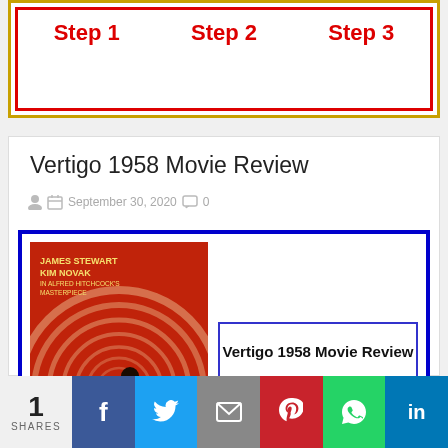[Figure (infographic): Three-step banner with red text Step 1, Step 2, Step 3 inside red and gold border]
Vertigo 1958 Movie Review
September 30, 2020  0
[Figure (illustration): Vertigo 1958 movie poster (red background with spiral and falling figure) inside blue border, with a boxed title overlay reading 'Vertigo 1958 Movie Review']
1 SHARES  [Facebook] [Twitter] [Email] [Pinterest] [WhatsApp] [LinkedIn]